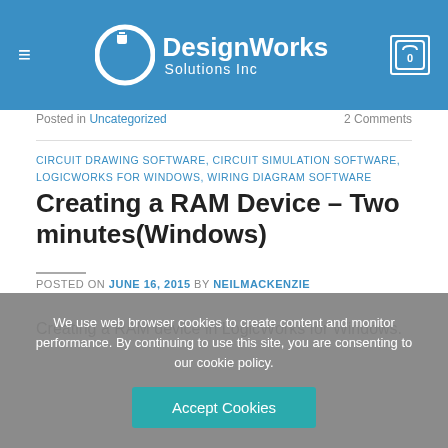DesignWorks Solutions Inc — navigation header with hamburger menu and cart icon showing 0
Posted in Uncategorized    2 Comments
CIRCUIT DRAWING SOFTWARE, CIRCUIT SIMULATION SOFTWARE, LOGICWORKS FOR WINDOWS, WIRING DIAGRAM SOFTWARE
Creating a RAM Device – Two minutes(Windows)
POSTED ON JUNE 16, 2015 BY NEILMACKENZIE
Creating a RAM device in LogicWorks for Windows.
We use web browser cookies to create content and monitor performance. By continuing to use this site, you are consenting to our cookie policy.